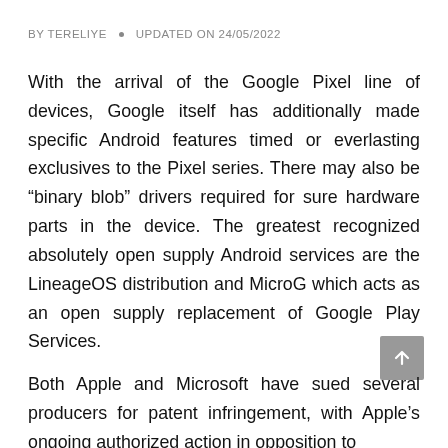BY TERELIYE • UPDATED ON 24/05/2022
With the arrival of the Google Pixel line of devices, Google itself has additionally made specific Android features timed or everlasting exclusives to the Pixel series. There may also be “binary blob” drivers required for sure hardware parts in the device. The greatest recognized absolutely open supply Android services are the LineageOS distribution and MicroG which acts as an open supply replacement of Google Play Services.
Both Apple and Microsoft have sued several producers for patent infringement, with Apple’s ongoing authorized action in opposition to